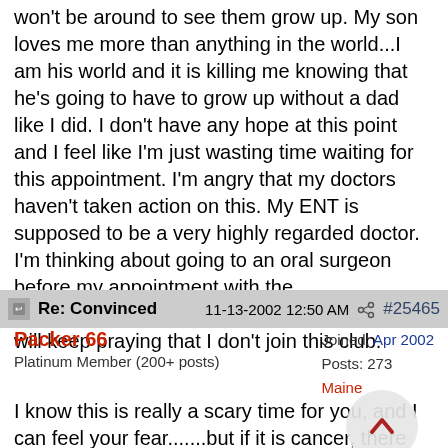won't be around to see them grow up. My son loves me more than anything in the world...I am his world and it is killing me knowing that he's going to have to grow up without a dad like I did. I don't have any hope at this point and I feel like I'm just wasting time waiting for this appointment. I'm angry that my doctors haven't taken action on this. My ENT is supposed to be a very highly regarded doctor. I'm thinking about going to an oral surgeon before my appointment with the otolaryngologist. I will keep you informed and will keep praying that I don't join this club.
Re: Convinced  11-13-2002 12:50 AM  #25465
Packer 66
Platinum Member (200+ posts)
Joined: Apr 2002
Posts: 273
Maine
I know this is really a scary time for you, and I can feel your fear.......but if it is cancer, there are a whole lot of survivors